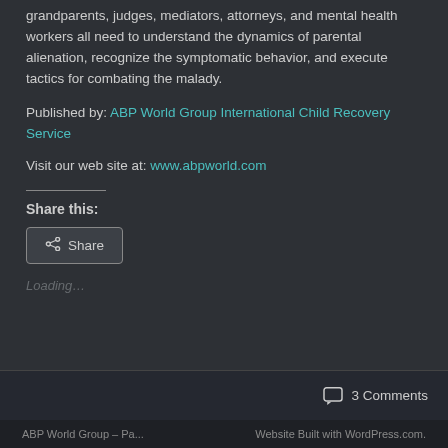grandparents, judges, mediators, attorneys, and mental health workers all need to understand the dynamics of parental alienation, recognize the symptomatic behavior, and execute tactics for combating the malady.
Published by: ABP World Group International Child Recovery Service
Visit our web site at: www.abpworld.com
Share this:
Share
Loading...
3 Comments
ABP World Group – Pa...     Website Built with WordPress.com.